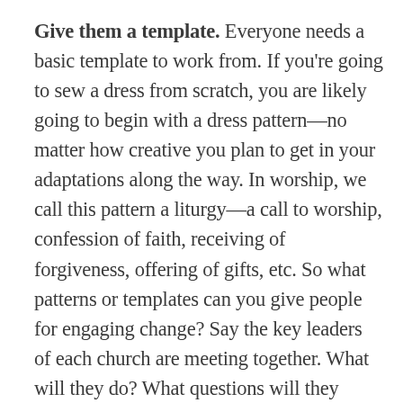Give them a template. Everyone needs a basic template to work from. If you're going to sew a dress from scratch, you are likely going to begin with a dress pattern—no matter how creative you plan to get in your adaptations along the way. In worship, we call this pattern a liturgy—a call to worship, confession of faith, receiving of forgiveness, offering of gifts, etc. So what patterns or templates can you give people for engaging change? Say the key leaders of each church are meeting together. What will they do? What questions will they address each time? What action steps will they commit to each time? The idea is to provide a bit of structure—not enough to be restrictive, but enough to give people a sense of direction